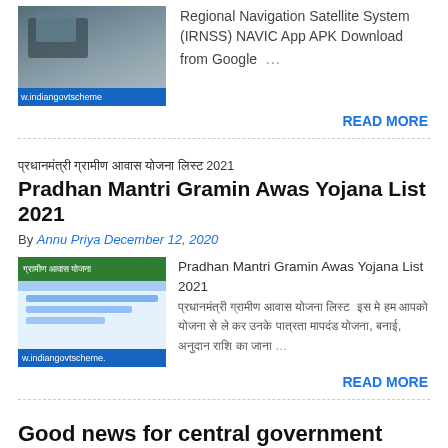[Figure (screenshot): Thumbnail image of IRNSS/NAVIC article with blue overlay and site label]
Regional Navigation Satellite System (IRNSS) NAVIC App APK Download from Google …
READ MORE
प्रधानमंत्री ग्रामीण आवास योजना लिस्ट 2021 Pradhan Mantri Gramin Awas Yojana List 2021
By Annu Priya December 12, 2020
[Figure (screenshot): Thumbnail of Pradhan Mantri Gramin Awas Yojana website screenshot]
Pradhan Mantri Gramin Awas Yojana List 2021 प्रधानमंत्री ग्रामीण आवास योजना लिस्ट  इस मे हम आपको योजना से ले कर उनके पात्रता मापदंड योजना, बनाई, अनुदान राशि का जाना  …
READ MORE
Good news for central government employees and pensioners